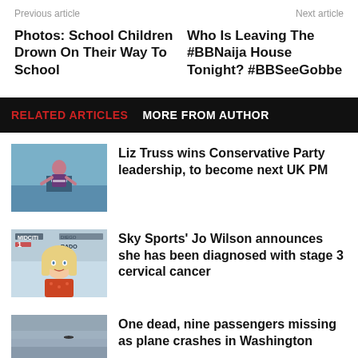Previous article    Next article
Photos: School Children Drown On Their Way To School
Who Is Leaving The #BBNaija House Tonight? #BBSeeGobbe
RELATED ARTICLES    MORE FROM AUTHOR
[Figure (photo): Liz Truss speaking at a podium on a blue stage]
Liz Truss wins Conservative Party leadership, to become next UK PM
[Figure (photo): Blonde woman in red floral outfit at a sports event]
Sky Sports’ Jo Wilson announces she has been diagnosed with stage 3 cervical cancer
[Figure (photo): Gray overcast sky over water, plane crash scene]
One dead, nine passengers missing as plane crashes in Washington